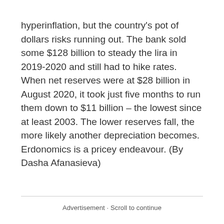hyperinflation, but the country's pot of dollars risks running out. The bank sold some $128 billion to steady the lira in 2019-2020 and still had to hike rates. When net reserves were at $28 billion in August 2020, it took just five months to run them down to $11 billion – the lowest since at least 2003. The lower reserves fall, the more likely another depreciation becomes. Erdonomics is a pricey endeavour. (By Dasha Afanasieva)
Advertisement · Scroll to continue